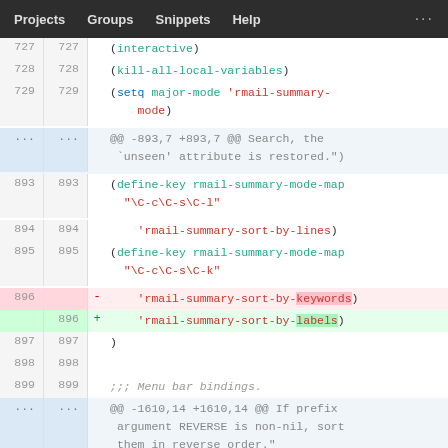Projects  Groups  Snippets  Help  ...
[Figure (screenshot): Git diff view showing code changes in a Lisp/Emacs file, lines 727-1610, with line numbers, deletion of 'rmail-summary-sort-by-keywords' and addition of 'rmail-summary-sort-by-labels']